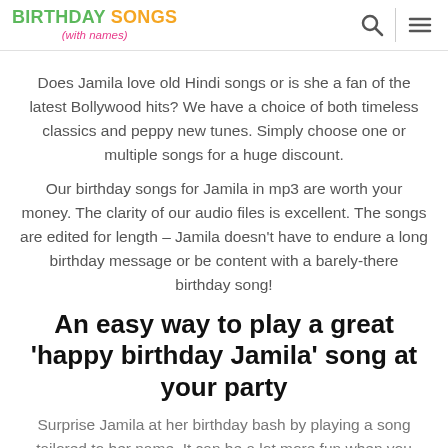BIRTHDAY SONGS (with names)
Does Jamila love old Hindi songs or is she a fan of the latest Bollywood hits? We have a choice of both timeless classics and peppy new tunes. Simply choose one or multiple songs for a huge discount.
Our birthday songs for Jamila in mp3 are worth your money. The clarity of our audio files is excellent. The songs are edited for length – Jamila doesn't have to endure a long birthday message or be content with a barely-there birthday song!
An easy way to play a great 'happy birthday Jamila' song at your party
Surprise Jamila at her birthday bash by playing a song tailored to her name. It can be a lot more fun when you